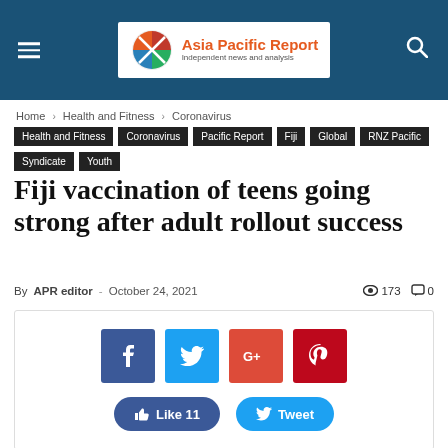Asia Pacific Report — Independent news and analysis
Home › Health and Fitness › Coronavirus
Health and Fitness
Coronavirus
Pacific Report
Fiji
Global
RNZ Pacific
Syndicate
Youth
Fiji vaccination of teens going strong after adult rollout success
By APR editor - October 24, 2021  173  0
[Figure (screenshot): Social media share buttons: Facebook, Twitter, Google+, Pinterest icons, and Like 11 and Tweet action buttons]